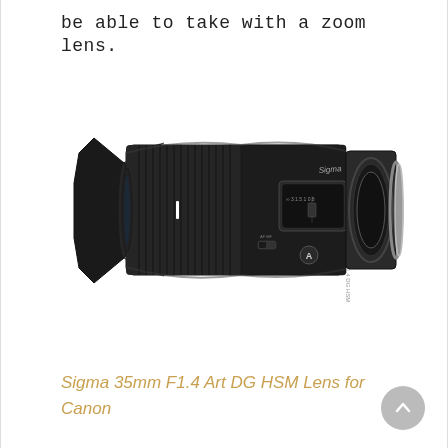be able to take with a zoom lens.
[Figure (photo): Sigma 35mm F1.4 Art DG HSM camera lens, black, shown from the side with lens hood attached, autofocus/manual switch visible, and 'A' badge on the body.]
Sigma 35mm F1.4 Art DG HSM Lens for Canon